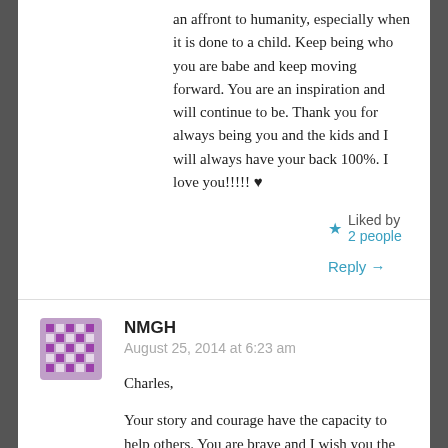an affront to humanity, especially when it is done to a child. Keep being who you are babe and keep moving forward. You are an inspiration and will continue to be. Thank you for always being you and the kids and I will always have your back 100%. I love you!!!!! ♥
★ Liked by 2 people
Reply →
[Figure (illustration): Purple pixelated avatar icon for user NMGH]
NMGH
August 25, 2014 at 6:23 am
Charles,

Your story and courage have the capacity to help others. You are brave and I wish you the best in your healing.